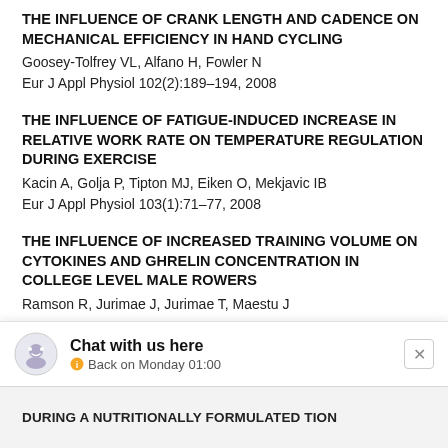THE INFLUENCE OF CRANK LENGTH AND CADENCE ON MECHANICAL EFFICIENCY IN HAND CYCLING
Goosey-Tolfrey VL, Alfano H, Fowler N
Eur J Appl Physiol 102(2):189–194, 2008
THE INFLUENCE OF FATIGUE-INDUCED INCREASE IN RELATIVE WORK RATE ON TEMPERATURE REGULATION DURING EXERCISE
Kacin A, Golja P, Tipton MJ, Eiken O, Mekjavic IB
Eur J Appl Physiol 103(1):71–77, 2008
THE INFLUENCE OF INCREASED TRAINING VOLUME ON CYTOKINES AND GHRELIN CONCENTRATION IN COLLEGE LEVEL MALE ROWERS
Ramson R, Jurimae J, Jurimae T, Maestu J